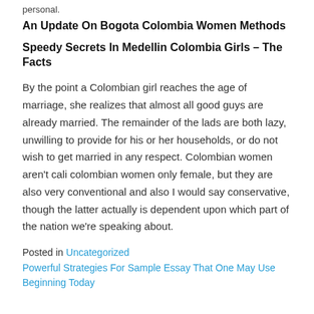personal.
An Update On Bogota Colombia Women Methods
Speedy Secrets In Medellin Colombia Girls – The Facts
By the point a Colombian girl reaches the age of marriage, she realizes that almost all good guys are already married. The remainder of the lads are both lazy, unwilling to provide for his or her households, or do not wish to get married in any respect. Colombian women aren't cali colombian women only female, but they are also very conventional and also I would say conservative, though the latter actually is dependent upon which part of the nation we're speaking about.
Posted in Uncategorized
Powerful Strategies For Sample Essay That One May Use Beginning Today